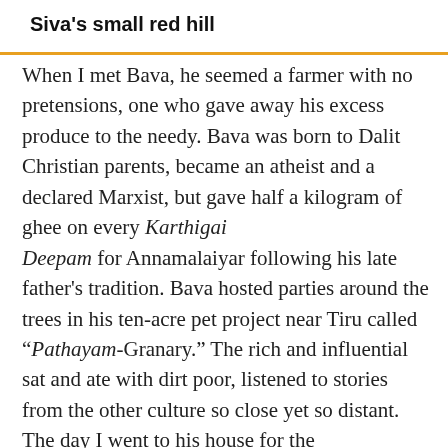Siva's small red hill
When I met Bava, he seemed a farmer with no pretensions, one who gave away his excess produce to the needy. Bava was born to Dalit Christian parents, became an atheist and a declared Marxist, but gave half a kilogram of ghee on every Karthigai Deepam for Annamalaiyar following his late father's tradition. Bava hosted parties around the trees in his ten-acre pet project near Tiru called “Pathayam-Granary.” The rich and influential sat and ate with dirt poor, listened to stories from the other culture so close yet so distant. The day I went to his house for the